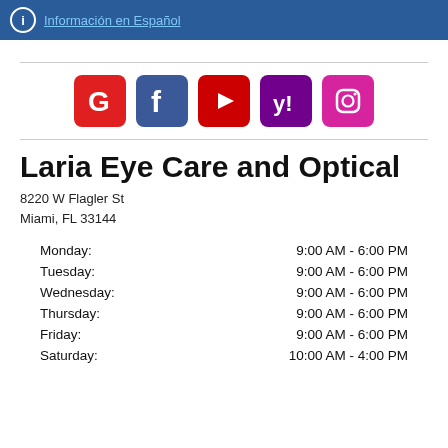Información en Español
[Figure (logo): Social media icons: Google, Facebook, YouTube, Yahoo, Instagram]
Laria Eye Care and Optical
8220 W Flagler St
Miami, FL 33144
| Day | Hours |
| --- | --- |
| Monday: | 9:00 AM - 6:00 PM |
| Tuesday: | 9:00 AM - 6:00 PM |
| Wednesday: | 9:00 AM - 6:00 PM |
| Thursday: | 9:00 AM - 6:00 PM |
| Friday: | 9:00 AM - 6:00 PM |
| Saturday: | 10:00 AM - 4:00 PM |